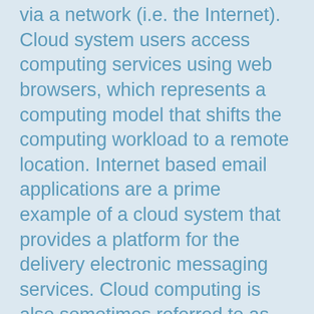via a network (i.e. the Internet). Cloud system users access computing services using web browsers, which represents a computing model that shifts the computing workload to a remote location. Internet based email applications are a prime example of a cloud system that provides a platform for the delivery electronic messaging services. Cloud computing is also sometimes referred to as utility computing, since consumer usage of cloud systems is metered and billed in a manner similar to a commodity like water or electric services.
KEY COMPONENTS
There are two key elements at the core of cloud computing technology, which are: SOA (Service Oriented Architecture) and cloud virtualization, which are described in further detail below:
SOA Architecture – this element of cloud